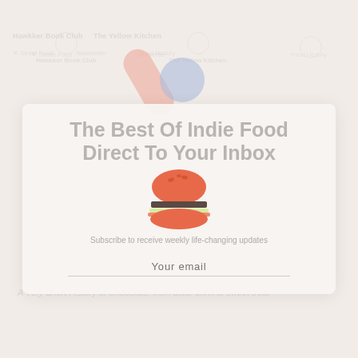[Figure (screenshot): Background website with navigation bar showing Hawkker Book Club and The Yellow Kitchen text, with food-related icons and nav items including Street Food, Newsletter, Food History]
[Figure (infographic): Decorative pill/capsule shapes in salmon/pink and blue colors overlaid on the page]
The Best Of Indie Food Direct To Your Inbox
[Figure (illustration): Burger emoji illustration in orange/salmon color]
Subscribe to receive weekly life-changing updates
A Very Short History of Chocolate: from bitter drink to sweet treat
Your email